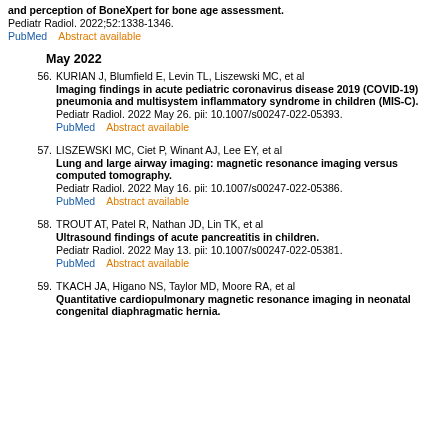and perception of BoneXpert for bone age assessment.
Pediatr Radiol. 2022;52:1338-1346.
PubMed    Abstract available
May 2022
56. KURIAN J, Blumfield E, Levin TL, Liszewski MC, et al
Imaging findings in acute pediatric coronavirus disease 2019 (COVID-19) pneumonia and multisystem inflammatory syndrome in children (MIS-C).
Pediatr Radiol. 2022 May 26. pii: 10.1007/s00247-022-05393.
PubMed    Abstract available
57. LISZEWSKI MC, Ciet P, Winant AJ, Lee EY, et al
Lung and large airway imaging: magnetic resonance imaging versus computed tomography.
Pediatr Radiol. 2022 May 16. pii: 10.1007/s00247-022-05386.
PubMed    Abstract available
58. TROUT AT, Patel R, Nathan JD, Lin TK, et al
Ultrasound findings of acute pancreatitis in children.
Pediatr Radiol. 2022 May 13. pii: 10.1007/s00247-022-05381.
PubMed    Abstract available
59. TKACH JA, Higano NS, Taylor MD, Moore RA, et al
Quantitative cardiopulmonary magnetic resonance imaging in neonatal congenital diaphragmatic hernia.